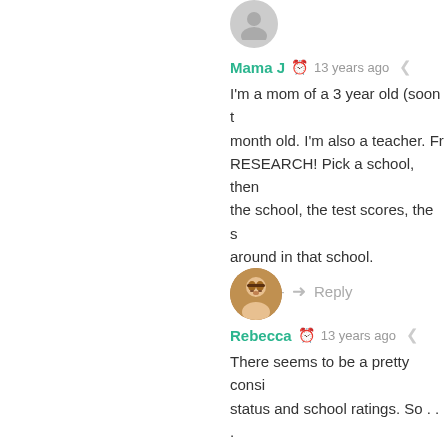[Figure (photo): Circular avatar placeholder for user Mama J, grey silhouette icon]
Mama J  13 years ago
I'm a mom of a 3 year old (soon t... month old. I'm also a teacher. Fr... RESEARCH! Pick a school, then... the school, the test scores, the s... around in that school.
+ 0 —  Reply
[Figure (photo): Circular avatar photo of Rebecca, a woman with glasses and short hair]
Rebecca  13 years ago
There seems to be a pretty consi... status and school ratings. So . . . best neighbourhood you can affo... that you can afford, too. Obvious... before buying, but it can't be the...